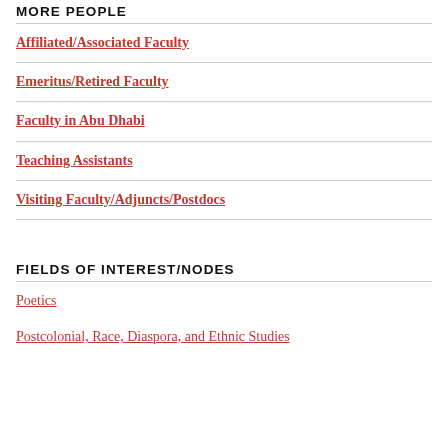MORE PEOPLE
Affiliated/Associated Faculty
Emeritus/Retired Faculty
Faculty in Abu Dhabi
Teaching Assistants
Visiting Faculty/Adjuncts/Postdocs
FIELDS OF INTEREST/NODES
Poetics
Postcolonial, Race, Diaspora, and Ethnic Studies